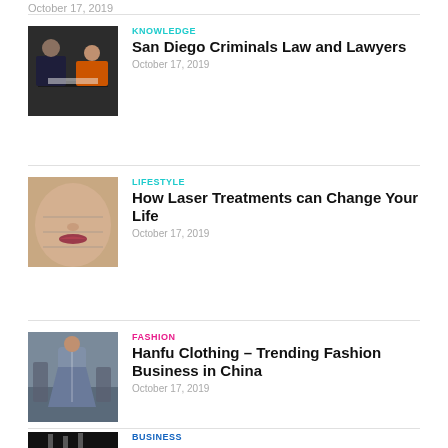October 17, 2019
[Figure (photo): Two men at a desk, one in business suit, one in orange, discussing documents]
KNOWLEDGE
San Diego Criminals Law and Lawyers
October 17, 2019
[Figure (photo): Close-up of a woman's face and neck with measurement lines drawn on skin]
LIFESTYLE
How Laser Treatments can Change Your Life
October 17, 2019
[Figure (photo): Woman in traditional Hanfu clothing walking on a street in China]
FASHION
Hanfu Clothing – Trending Fashion Business in China
October 17, 2019
[Figure (photo): Dark city scene, partial view]
BUSINESS